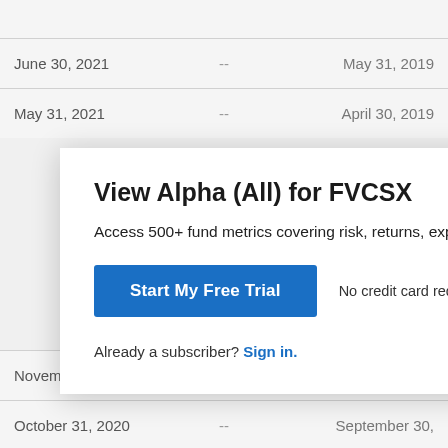| June 30, 2021 | -- | May 31, 2019 |
| May 31, 2021 | -- | April 30, 2019 |
View Alpha (All) for FVCSX
Access 500+ fund metrics covering risk, returns, exposu...
Start My Free Trial
No credit card required.
Already a subscriber? Sign in.
| November 30, 2020 | -- | October 31, 201... |
| October 31, 2020 | -- | September 30, ... |
| September 30, 2020 | -- | August 31, 2018 |
| August 31, 2020 | -- | July 31, 2018 |